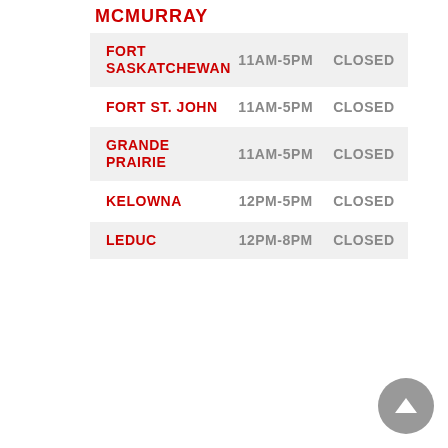MCMURRAY
| Location | Hours | Status |
| --- | --- | --- |
| FORT SASKATCHEWAN | 11AM-5PM | CLOSED |
| FORT ST. JOHN | 11AM-5PM | CLOSED |
| GRANDE PRAIRIE | 11AM-5PM | CLOSED |
| KELOWNA | 12PM-5PM | CLOSED |
| LEDUC | 12PM-8PM | CLOSED |